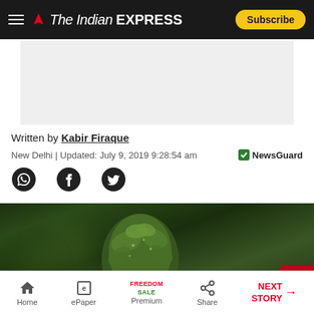The Indian EXPRESS — Subscribe
[Figure (other): Gray advertisement placeholder area]
Written by Kabir Firaque
New Delhi | Updated: July 9, 2019 9:28:54 am — NewsGuard
[Figure (other): Social sharing icons: WhatsApp, Facebook, Twitter]
[Figure (photo): Close-up photo of a cannabis plant bud with dark green bokeh background]
Home | ePaper | Premium (Freedom Sale) | Share | NEXT STORY →